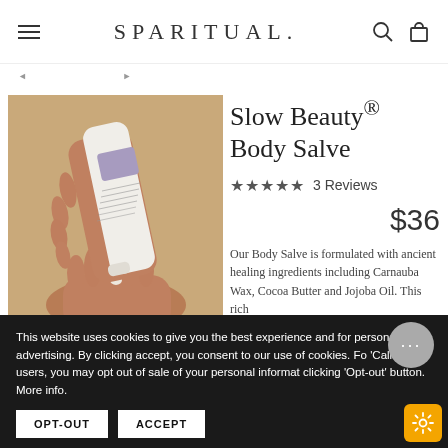SPARITUAL.
[Figure (photo): Hands holding a white tube of SpaRitual Slow Beauty Body Salve product, dispensing cream into palm, against warm beige background]
Slow Beauty® Body Salve
★★★★★  3 Reviews
$36
Our Body Salve is formulated with ancient healing ingredients including Carnauba Wax, Cocoa Butter and Jojoba Oil. This rich
This website uses cookies to give you the best experience and for personalized advertising. By clicking accept, you consent to our use of cookies. For 'California' users, you may opt out of sale of your personal information by clicking 'Opt-out' button. More info.